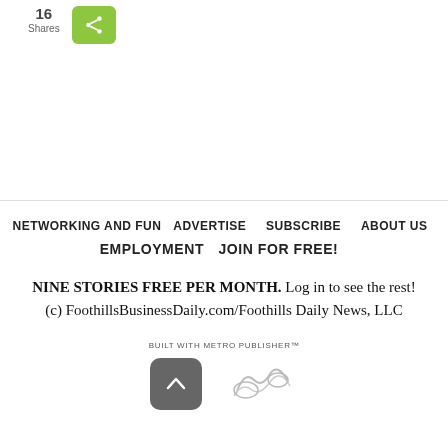16 Shares
NETWORKING AND FUN   ADVERTISE   SUBSCRIBE   ABOUT US   EMPLOYMENT   JOIN FOR FREE!
NINE STORIES FREE PER MONTH. Log in to see the rest!
(c) FoothillsBusinessDaily.com/Foothills Daily News, LLC
BUILT WITH METRO PUBLISHER™